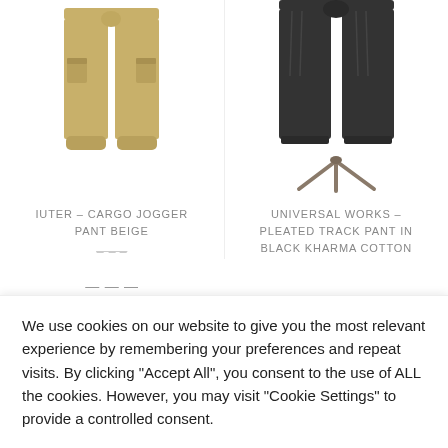[Figure (photo): Beige cargo jogger pants product photo on white background]
[Figure (photo): Black pleated track pants on a stand/hanger, product photo on white background]
IUTER – CARGO JOGGER PANT BEIGE
UNIVERSAL WORKS – PLEATED TRACK PANT IN BLACK KHARMA COTTON
We use cookies on our website to give you the most relevant experience by remembering your preferences and repeat visits. By clicking "Accept All", you consent to the use of ALL the cookies. However, you may visit "Cookie Settings" to provide a controlled consent.
Cookie Settings
Accept All